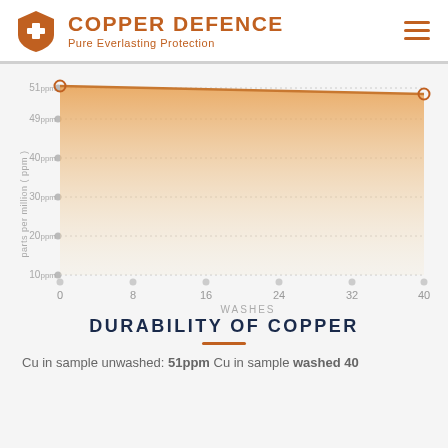COPPER DEFENCE
Pure Everlasting Protection
[Figure (area-chart): Durability of Copper]
DURABILITY OF COPPER
Cu in sample unwashed: 51ppm Cu in sample washed 40